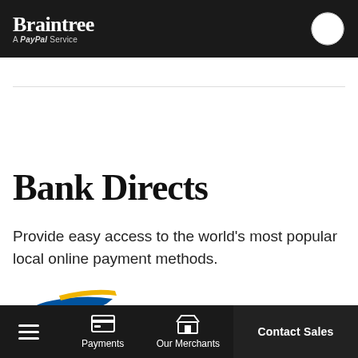Braintree — A PayPal Service
Bank Directs
Provide easy access to the world's most popular local online payment methods.
[Figure (logo): Bancontact payment method logo with blue and yellow swoosh design, partially visible with label 'Bancontact']
Payments | Our Merchants | Contact Sales